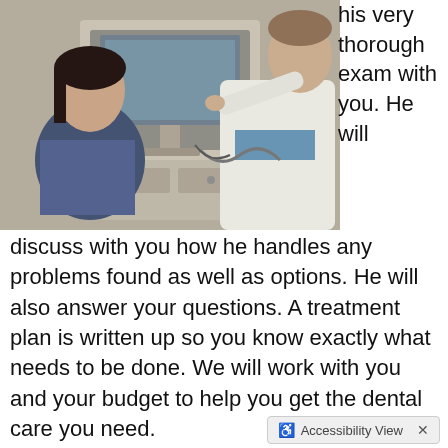[Figure (photo): A dentist in a white coat pointing at a dental monitor screen while a female patient in a blue patterned top looks on. Dental equipment visible in background.]
his very thorough exam with you. He will discuss with you how he handles any problems found as well as options. He will also answer your questions. A treatment plan is written up so you know exactly what needs to be done. We will work with you and your budget to help you get the dental care you need.
Accessibility View  X